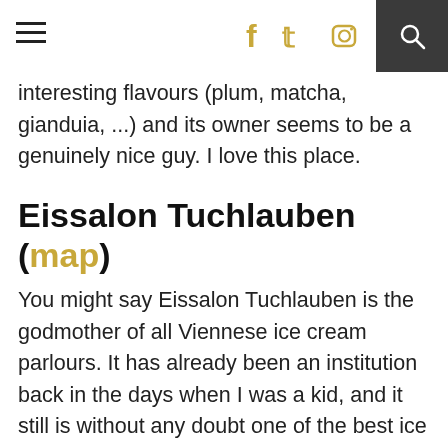≡  f  twitter  instagram  🔍
interesting flavours (plum, matcha, gianduia, ...) and its owner seems to be a genuinely nice guy. I love this place.
Eissalon Tuchlauben (map)
You might say Eissalon Tuchlauben is the godmother of all Viennese ice cream parlours. It has already been an institution back in the days when I was a kid, and it still is without any doubt one of the best ice cream places in Vienna with that certain charm of the old days. My favourite flavour: walnut (because it really feels like biting/licking